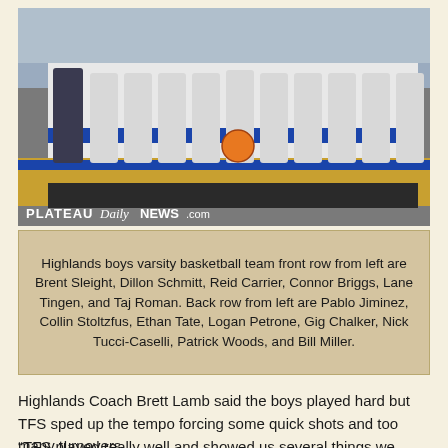[Figure (photo): Highlands boys varsity basketball team photo on a basketball court. Players wearing white and blue Highlands jerseys. A watermark reads PLATEAU Daily NEWS.com at the bottom left.]
Highlands boys varsity basketball team front row from left are Brent Sleight, Dillon Schmitt, Reid Carrier, Connor Briggs, Lane Tingen, and Taj Roman. Back row from left are Pablo Jiminez, Collin Stoltzfus, Ethan Tate, Logan Petrone, Gig Chalker, Nick Tucci-Caselli, Patrick Woods, and Bill Miller.
Highlands Coach Brett Lamb said the boys played hard but TFS sped up the tempo forcing some quick shots and too many turnovers.
“TFS played really well and showed us several things we need to work on, and we are looking forward to watching our team